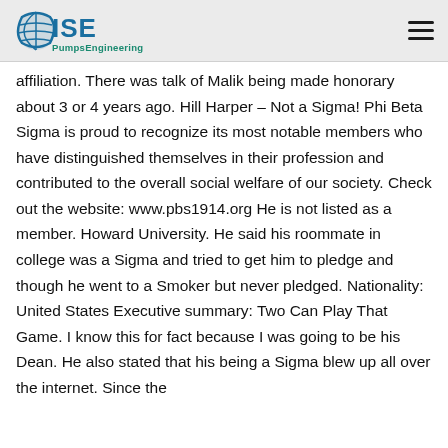ISE PumpsEngineering
affiliation. There was talk of Malik being made honorary about 3 or 4 years ago. Hill Harper – Not a Sigma! Phi Beta Sigma is proud to recognize its most notable members who have distinguished themselves in their profession and contributed to the overall social welfare of our society. Check out the website: www.pbs1914.org He is not listed as a member. Howard University. He said his roommate in college was a Sigma and tried to get him to pledge and though he went to a Smoker but never pledged. Nationality: United States Executive summary: Two Can Play That Game. I know this for fact because I was going to be his Dean. He also stated that his being a Sigma blew up all over the internet. Since the